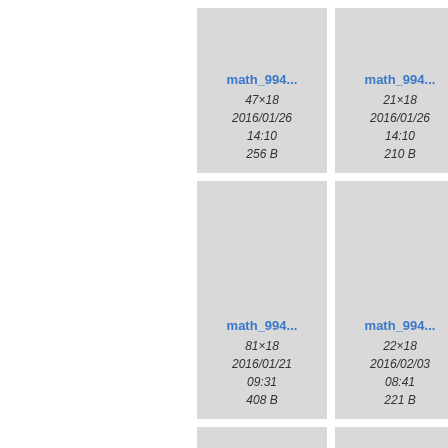[Figure (screenshot): File browser grid view showing math file thumbnails with metadata. Row 1: card 1 (math_994..., 47x18, 2016/01/26 14:10, 256 B), card 2 (math_994..., 21x18, 2016/01/26 14:10, 210 B), card 3 partially visible. Row 2: card 1 (math_994..., 81x18, 2016/01/21 09:31, 408 B), card 2 (math_994..., 22x18, 2016/02/03 08:41, 221 B), card 3 partially visible. Row 3: three partial cards visible at bottom.]